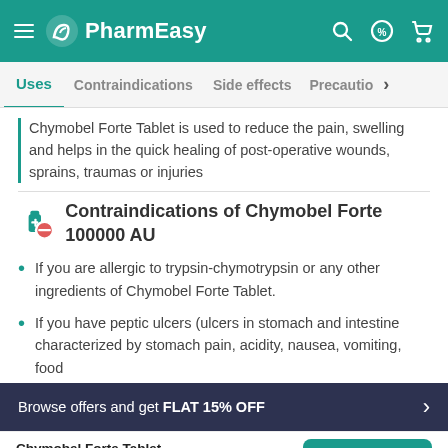PharmEasy
Uses | Contraindications | Side effects | Precautions
Chymobel Forte Tablet is used to reduce the pain, swelling and helps in the quick healing of post-operative wounds, sprains, traumas or injuries
Contraindications of Chymobel Forte 100000 AU
If you are allergic to trypsin-chymotrypsin or any other ingredients of Chymobel Forte Tablet.
If you have peptic ulcers (ulcers in stomach and intestine characterized by stomach pain, acidity, nausea, vomiting, food …
Browse offers and get FLAT 15% OFF
Chymobel Forte Tablet MRP ₹143 | Add To Cart